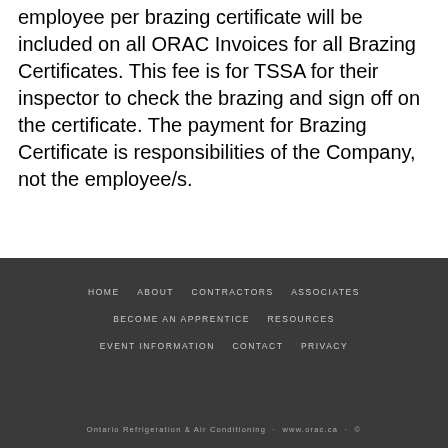employee per brazing certificate will be included on all ORAC Invoices for all Brazing Certificates. This fee is for TSSA for their inspector to check the brazing and sign off on the certificate. The payment for Brazing Certificate is responsibilities of the Company, not the employee/s.
HOME  ABOUT  CONTRACTORS  ASSOCIATES  BECOME AN APPRENTICE  RESOURCES  EVENT INFORMATION  CONTACT  PRIVACY
Ontario Refrigeration & Air Conditioning · www.orac.ca · ©